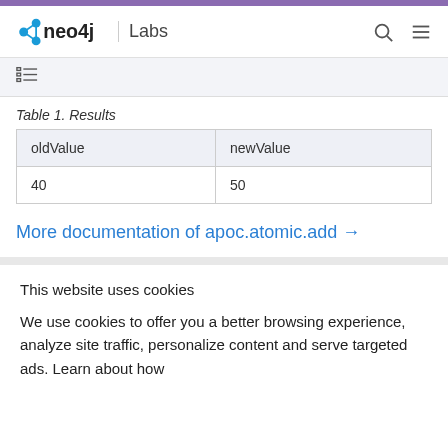neo4j Labs
Table 1. Results
| oldValue | newValue |
| --- | --- |
| 40 | 50 |
More documentation of apoc.atomic.add →
This website uses cookies
We use cookies to offer you a better browsing experience, analyze site traffic, personalize content and serve targeted ads. Learn about how